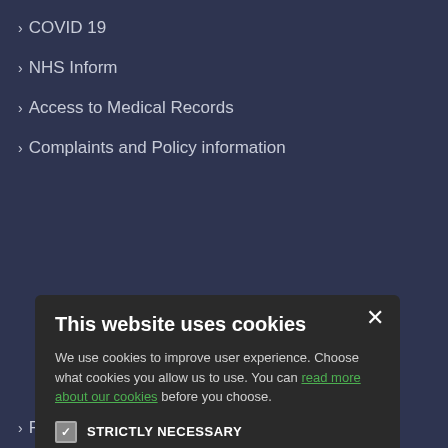> COVID 19
> NHS Inform
> Access to Medical Records
> Complaints and Policy information
[Figure (screenshot): Cookie consent modal dialog with title 'This website uses cookies', body text, checkboxes for STRICTLY NECESSARY, PERFORMANCE, TARGETING, FUNCTIONALITY, and ACCEPT ALL / DECLINE ALL buttons]
> Physical Activity Questionnaire